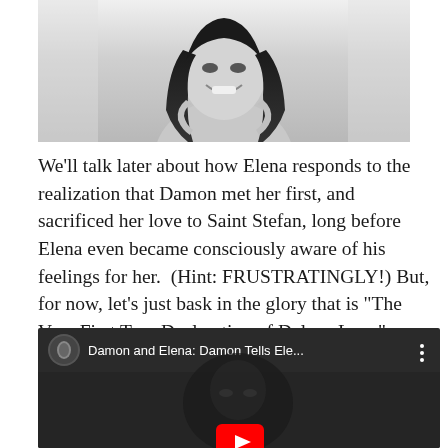[Figure (photo): Black and white photo of a smiling woman with long dark hair, holding her hair near her shoulders, against a light background]
We'll talk later about how Elena responds to the realization that Damon met her first, and sacrificed her love to Saint Stefan, long before Elena even became consciously aware of his feelings for her.  (Hint: FRUSTRATINGLY!)  But, for now, let’s just bask in the glory that is “The Very First True Declaration of Delena Love” . . .
[Figure (screenshot): YouTube video embed showing 'Damon and Elena: Damon Tells Ele...' with a dark preview frame showing a face, a circular thumbnail of the couple, and a red YouTube play button at the bottom center]